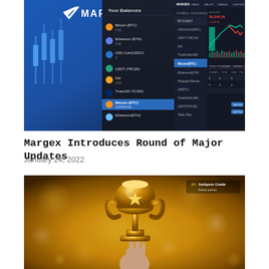[Figure (screenshot): Screenshot of Margex cryptocurrency trading platform interface showing the Margex logo, wallet balances panel with various crypto assets (BTC, ETH, USDC, USDT, etc.), and a candlestick chart with price data on a dark background.]
Margex Introduces Round of Major Updates
January 24, 2022
[Figure (photo): Photo of a golden trophy/award being held up by a hand against a warm golden bokeh background, with a 'Jackpots Genie' logo visible in the upper right corner.]